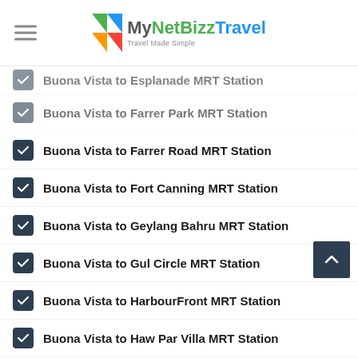MyNetBizzTravel — Travel Made Simple
Buona Vista to Esplanade MRT Station
Buona Vista to Farrer Park MRT Station
Buona Vista to Farrer Road MRT Station
Buona Vista to Fort Canning MRT Station
Buona Vista to Geylang Bahru MRT Station
Buona Vista to Gul Circle MRT Station
Buona Vista to HarbourFront MRT Station
Buona Vista to Haw Par Villa MRT Station
Buona Vista to Hillview MRT Station
Buona Vista to Holland Village MRT Station
Buona Vista to Hougang MRT Station
Buona Vista to Jalan Besar MRT Station
Buona Vista to Joo Koon MRT Station